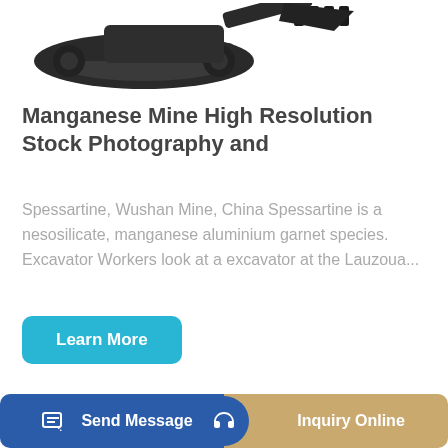[Figure (photo): Partial view of a dark/black excavator machine with tracks and bucket attachment, cropped at top]
Manganese Mine High Resolution Stock Photography and
Spessartine, Wushan Mine, China Spessartine is a nesosilicate, manganese aluminium garnet species. Excavator Workers look at a excavator at the Lauzoua...
[Figure (photo): Yellow/gold wheel loader with raised bucket, and blue/yellow cab visible in background]
Send Message   Inquiry Online